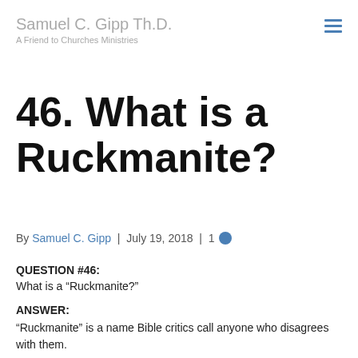Samuel C. Gipp Th.D.
A Friend to Churches Ministries
46. What is a Ruckmanite?
By Samuel C. Gipp | July 19, 2018 | 1
QUESTION #46:
What is a “Ruckmanite?”
ANSWER:
“Ruckmanite” is a name Bible critics call anyone who disagrees with them.
EXPLANATION:
Peter Sturges Ruckman was born in 1921. He has spent years